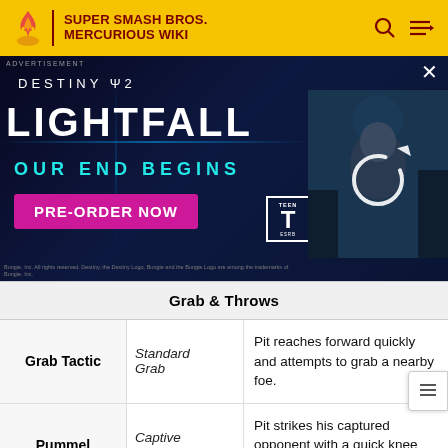SUPER SMASH BROS. MERCURIOUS WIKI
[Figure (screenshot): Advertisement banner for Destiny 2: Lightfall with text 'OUR END BEGINS' and 'PRE-ORDER NOW' button, featuring a cyberpunk character and ESRB Teen rating.]
| Grab & Throws |  |  |
| --- | --- | --- |
| Grab Tactic | Standard Grab | Pit reaches forward quickly and attempts to grab a nearby foe. |
| Pummel | Captive Knee | Pit strikes his captured opponent with a quick knee attack. |
| Forward Throw | Needle Palm | Pit throws his opponent diagonally forwards |